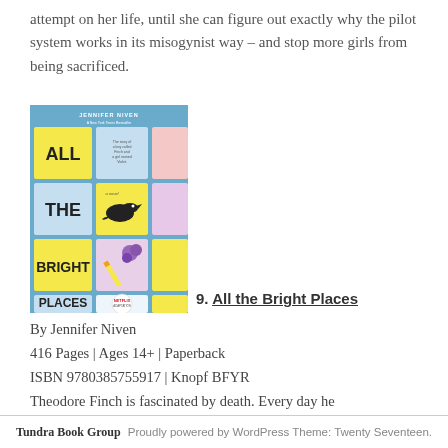attempt on her life, until she can figure out exactly why the pilot system works in its misogynist way – and stop more girls from being sacrificed.
[Figure (photo): Book cover of 'All the Bright Places' by Jennifer Niven. Blue background with sticky notes arranged in a grid pattern spelling out ALL THE BRIGHT PLACES. Features a black bird, purple flower, and Netflix adaptation badge.]
9. All the Bright Places
By Jennifer Niven
416 Pages | Ages 14+ | Paperback
ISBN 9780385755917 | Knopf BFYR
Theodore Finch is fascinated by death. Every day he
Tundra Book Group    Proudly powered by WordPress Theme: Twenty Seventeen.